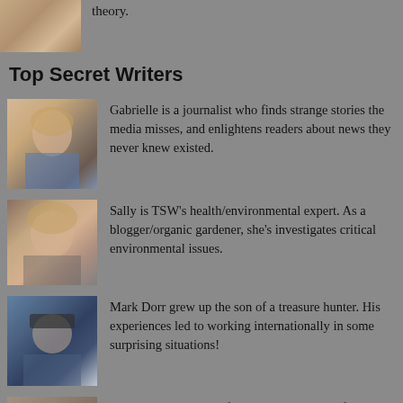[Figure (photo): Partial photo of a woman at top of page]
theory.
Top Secret Writers
[Figure (photo): Photo of Gabrielle, a blonde woman]
Gabrielle is a journalist who finds strange stories the media misses, and enlightens readers about news they never knew existed.
[Figure (photo): Photo of Sally, a woman with curly hair]
Sally is TSW’s health/environmental expert. As a blogger/organic gardener, she’s investigates critical environmental issues.
[Figure (photo): Photo of Mark Dorr, a man wearing a hat]
Mark Dorr grew up the son of a treasure hunter. His experiences led to working internationally in some surprising situations!
[Figure (photo): Photo of Mark R. Whittington, a man with glasses]
Mark R. Whittington, from Houston, Texas, frequently writes on space, science, political commentary and political culture.